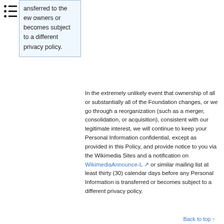ansferred to the ew owners or becomes subject to a different privacy policy.
In the extremely unlikely event that ownership of all or substantially all of the Foundation changes, or we go through a reorganization (such as a merger, consolidation, or acquisition), consistent with our legitimate interest, we will continue to keep your Personal Information confidential, except as provided in this Policy, and provide notice to you via the Wikimedia Sites and a notification on WikimediaAnnounce-L or similar mailing list at least thirty (30) calendar days before any Personal Information is transferred or becomes subject to a different privacy policy.
Back to top